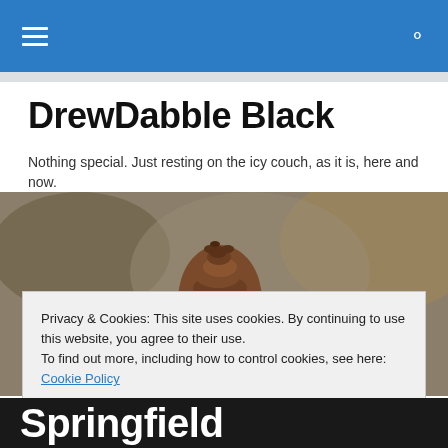DrewDabble Black – navigation bar with hamburger menu and search icon
DrewDabble Black
Nothing special. Just resting on the icy couch, as it is, here and now.
[Figure (photo): A pine cone resting on a granite stone block, with a blurred brown background.]
Privacy & Cookies: This site uses cookies. By continuing to use this website, you agree to their use.
To find out more, including how to control cookies, see here: Cookie Policy
[Close and accept button]
Springfield